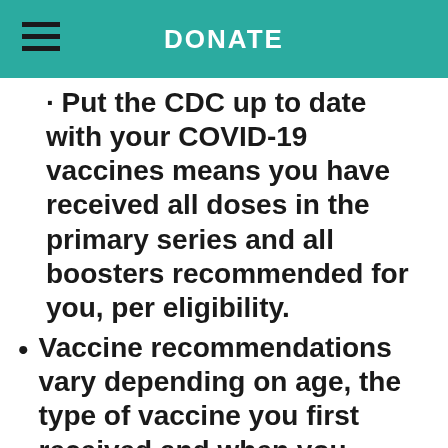DONATE
Put the CDC up to date with your COVID-19 vaccines means you have received all doses in the primary series and all boosters recommended for you, per eligibility.
Vaccine recommendations vary depending on age, the type of vaccine you first received and when you received your last dose: https://www.cdc.gov/coronavirus/ncov/vaccines/stay-up-to-date.html